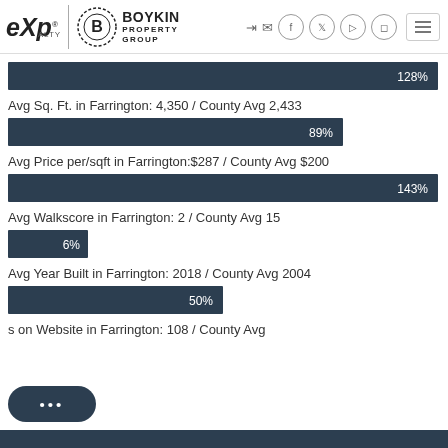eXp Realty | Boykin Property Group
[Figure (bar-chart): Avg Sq. Ft. in Farrington: 4,350 / County Avg 2,433]
Avg Sq. Ft. in Farrington: 4,350 / County Avg 2,433
[Figure (bar-chart): Avg Price per/sqft in Farrington: $287 / County Avg $200]
Avg Price per/sqft in Farrington:$287 / County Avg $200
[Figure (bar-chart): Avg Walkscore in Farrington: 2 / County Avg 15]
Avg Walkscore in Farrington: 2 / County Avg 15
[Figure (bar-chart): Avg Year Built in Farrington: 2018 / County Avg 2004]
Avg Year Built in Farrington: 2018 / County Avg 2004
[Figure (bar-chart): ...s on Website in Farrington: 108 / County Avg]
s on Website in Farrington: 108 / County Avg